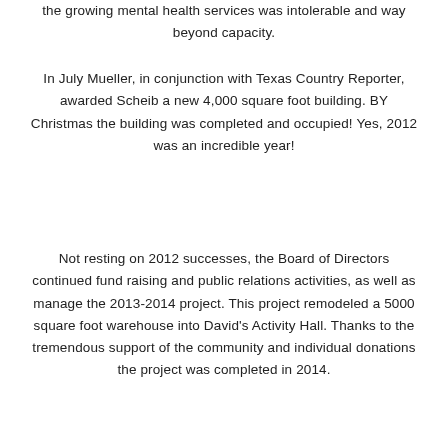the growing mental health services was intolerable and way beyond capacity.
In July Mueller, in conjunction with Texas Country Reporter, awarded Scheib a new 4,000 square foot building. BY Christmas the building was completed and occupied! Yes, 2012 was an incredible year!
Not resting on 2012 successes, the Board of Directors continued fund raising and public relations activities, as well as manage the 2013-2014 project. This project remodeled a 5000 square foot warehouse into David's Activity Hall. Thanks to the tremendous support of the community and individual donations the project was completed in 2014.